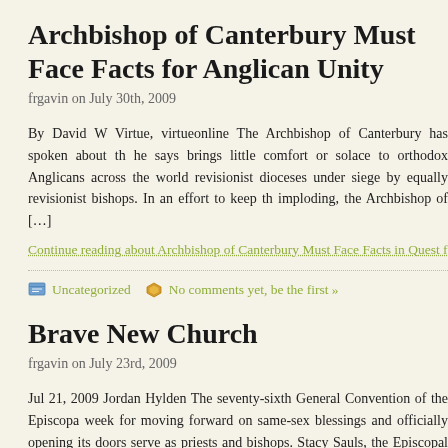Archbishop of Canterbury Must Face Facts for Anglican Unity
frgavin on July 30th, 2009
By David W Virtue, virtueonline The Archbishop of Canterbury has spoken about th he says brings little comfort or solace to orthodox Anglicans across the world revisionist dioceses under siege by equally revisionist bishops. In an effort to keep th imploding, the Archbishop of […]
Continue reading about Archbishop of Canterbury Must Face Facts in Quest for Angl
Uncategorized   No comments yet, be the first »
Brave New Church
frgavin on July 23rd, 2009
Jul 21, 2009 Jordan Hylden The seventy-sixth General Convention of the Episcopa week for moving forward on same-sex blessings and officially opening its doors serve as priests and bishops. Stacy Sauls, the Episcopal bishop of Lexington and a c